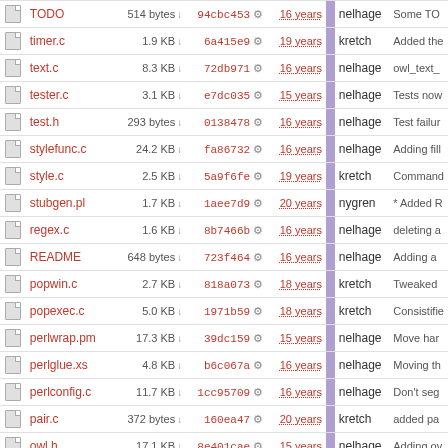|  | Name | Size | Hash | Age | | | Author | Message |
| --- | --- | --- | --- | --- | --- | --- | --- |
|  | TODO | 514 bytes | 94cbc453 | 16 years |  | nelhage | Some TO |
|  | timer.c | 1.9 KB | 6a415e9 | 19 years |  | kretch | Added the |
|  | text.c | 8.3 KB | 72db971 | 16 years |  | nelhage | owl_text_ |
|  | tester.c | 3.1 KB | e7dc035 | 15 years |  | nelhage | Tests now |
|  | test.h | 293 bytes | 0138478 | 16 years |  | nelhage | Test failur |
|  | stylefunc.c | 24.2 KB | fa86732 | 16 years |  | nelhage | Adding fill |
|  | style.c | 2.5 KB | 5a9f6fe | 19 years |  | kretch | Command |
|  | stubgen.pl | 1.7 KB | 1aee7d9 | 20 years |  | nygren | * Added R |
|  | regex.c | 1.6 KB | 8b7466b | 16 years |  | nelhage | deleting a |
|  | README | 648 bytes | 723f464 | 16 years |  | nelhage | Adding a |
|  | popwin.c | 2.7 KB | 818a073 | 18 years |  | kretch | Tweaked |
|  | popexec.c | 5.0 KB | 1971b59 | 18 years |  | kretch | Consistifie |
|  | perlwrap.pm | 17.3 KB | 39dc159 | 15 years |  | nelhage | Move har |
|  | perlglue.xs | 4.8 KB | b6c067a | 16 years |  | nelhage | Moving th |
|  | perlconfig.c | 11.7 KB | 1cc95709 | 16 years |  | nelhage | Don't seg |
|  | pair.c | 372 bytes | 160ea47 | 20 years |  | kretch | added pa |
|  | owl.h | 17.1 KB | 8e401cae | 15 years |  | nelhage | Adding ov |
|  | owl.c | 25.0 KB | 39dc159 | 15 years |  | nelhage | Move har |
|  | obarray.c | 2.6 KB | db90f03 | 15 years |  | r19159 |  |